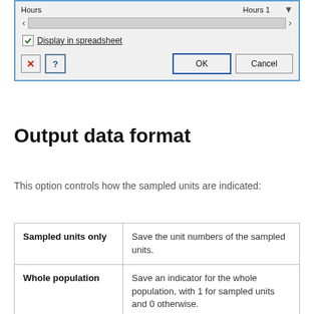[Figure (screenshot): Dialog box UI showing Hours and Hours 1 columns, a scrollbar, a 'Display in spreadsheet' checkbox, and OK/Cancel buttons with X and help icons.]
Output data format
This option controls how the sampled units are indicated:
|  |  |
| --- | --- |
| Sampled units only | Save the unit numbers of the sampled units. |
| Whole population | Save an indicator for the whole population, with 1 for sampled units and 0 otherwise. |